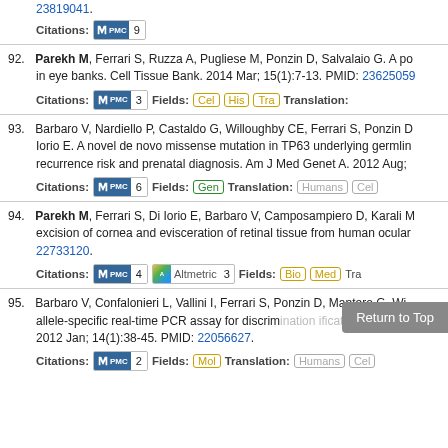23819041.
Citations: PMC 9
92. Parekh M, Ferrari S, Ruzza A, Pugliese M, Ponzin D, Salvalaio G. A po... in eye banks. Cell Tissue Bank. 2014 Mar; 15(1):7-13. PMID: 23625059
Citations: PMC 3  Fields: Cel His Tra  Translation:
93. Barbaro V, Nardiello P, Castaldo G, Willoughby CE, Ferrari S, Ponzin D... Iorio E. A novel de novo missense mutation in TP63 underlying germlin... recurrence risk and prenatal diagnosis. Am J Med Genet A. 2012 Aug;
Citations: PMC 6  Fields: Gen  Translation: Humans Cel
94. Parekh M, Ferrari S, Di Iorio E, Barbaro V, Camposampiero D, Karali M... excision of cornea and evisceration of retinal tissue from human ocular... 22733120.
Citations: PMC 4  Altmetric 3  Fields: Bio Med  Tra...
95. Barbaro V, Confalonieri L, Vallini I, Ferrari S, Ponzin D, Mantero G, Wi... allele-specific real-time PCR assay for discrim... 2012 Jan; 14(1):38-45. PMID: 22056627.
Citations: PMC 2  Fields: Mol  Translation: Humans Cel